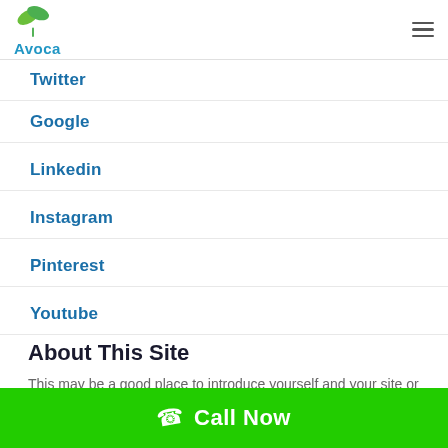Avoca
Twitter
Google
Linkedin
Instagram
Pinterest
Youtube
About This Site
This may be a good place to introduce yourself and your site or include some credits.
Call Now